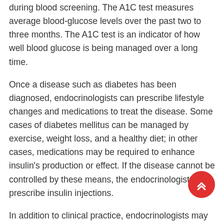during blood screening. The A1C test measures average blood-glucose levels over the past two to three months. The A1C test is an indicator of how well blood glucose is being managed over a long time.
Once a disease such as diabetes has been diagnosed, endocrinologists can prescribe lifestyle changes and medications to treat the disease. Some cases of diabetes mellitus can be managed by exercise, weight loss, and a healthy diet; in other cases, medications may be required to enhance insulin's production or effect. If the disease cannot be controlled by these means, the endocrinologist may prescribe insulin injections.
In addition to clinical practice, endocrinologists may also be involved in primary research and development activities. For example, ongoing islet transplant research is investigating how healthy pancreas islet cells may be